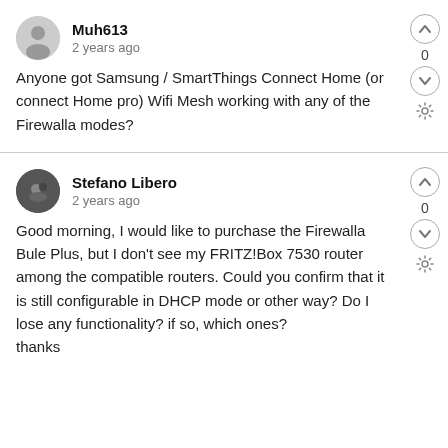Muh613
2 years ago
Anyone got Samsung / SmartThings Connect Home (or connect Home pro) Wifi Mesh working with any of the Firewalla modes?
Stefano Libero
2 years ago
Good morning, I would like to purchase the Firewalla Bule Plus, but I don't see my FRITZ!Box 7530 router among the compatible routers. Could you confirm that it is still configurable in DHCP mode or other way? Do I lose any functionality? if so, which ones?
thanks